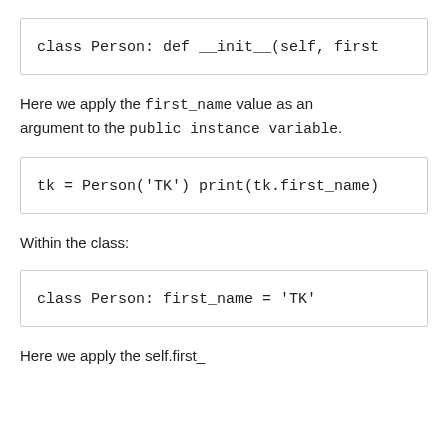Here we apply the first_name value as an argument to the public instance variable.
Within the class:
Here we apply the self.first_